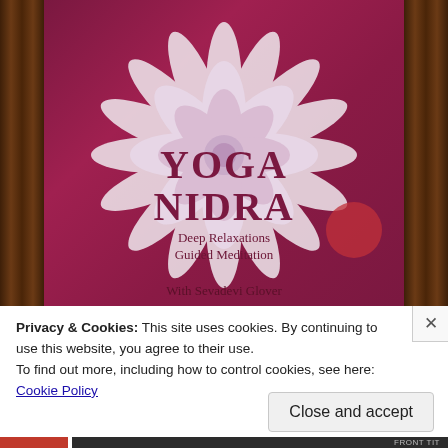[Figure (photo): Photo of a book cover for 'Yoga Nidra: Deep Relaxations Guided Meditation' by Sevadevi Glover. The cover has a magenta/purple background with a large white mandala or lotus flower design in the center. The book is photographed on a wooden surface visible at the edges.]
Privacy & Cookies: This site uses cookies. By continuing to use this website, you agree to their use.
To find out more, including how to control cookies, see here: Cookie Policy
Close and accept